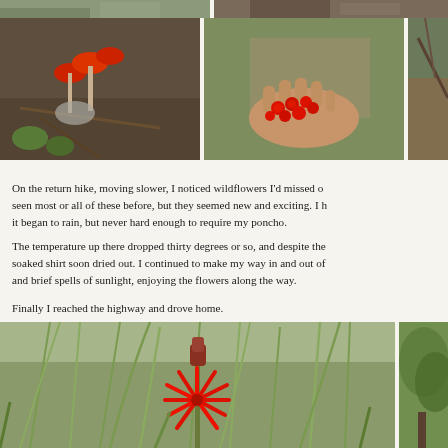[Figure (photo): Top row of nature photos: two photos side by side showing forest/wilderness scenes, partially cropped at top of page]
[Figure (photo): Middle row of three photos: red mushrooms in forest floor, hand holding red berries, and a third nature scene partially cropped on right]
On the return hike, moving slower, I noticed wildflowers I'd missed o... seen most or all of these before, but they seemed new and exciting. I h... it began to rain, but never hard enough to require my poncho.
The temperature up there dropped thirty degrees or so, and despite the... soaked shirt soon dried out. I continued to make my way in and out of... and brief spells of sunlight, enjoying the flowers along the way.
Finally I reached the highway and drove home.
[Figure (photo): Bottom row: large photo of red star-shaped wildflower among green grasses, and a second photo partially cropped on right showing green trees/forest]